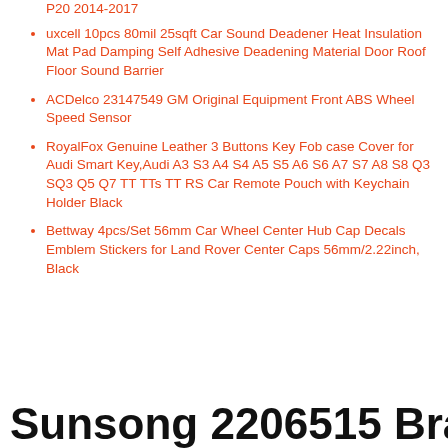P20 2014-2017
uxcell 10pcs 80mil 25sqft Car Sound Deadener Heat Insulation Mat Pad Damping Self Adhesive Deadening Material Door Roof Floor Sound Barrier
ACDelco 23147549 GM Original Equipment Front ABS Wheel Speed Sensor
RoyalFox Genuine Leather 3 Buttons Key Fob case Cover for Audi Smart Key,Audi A3 S3 A4 S4 A5 S5 A6 S6 A7 S7 A8 S8 Q3 SQ3 Q5 Q7 TT TTs TT RS Car Remote Pouch with Keychain Holder Black
Bettway 4pcs/Set 56mm Car Wheel Center Hub Cap Decals Emblem Stickers for Land Rover Center Caps 56mm/2.22inch, Black
Sunsong 2206515 Brake